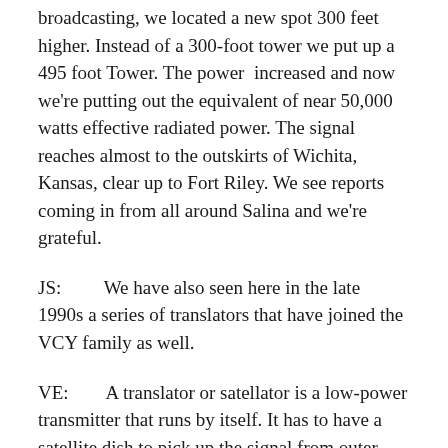broadcasting, we located a new spot 300 feet higher. Instead of a 300-foot tower we put up a 495 foot Tower. The power increased and now we're putting out the equivalent of near 50,000 watts effective radiated power. The signal reaches almost to the outskirts of Wichita, Kansas, clear up to Fort Riley. We see reports coming in from all around Salina and we're grateful.
JS:        We have also seen here in the late 1990s a series of translators that have joined the VCY family as well.
VE:        A translator or satellator is a low-power transmitter that runs by itself. It has to have a satellite dish to pick up the signal from outer space and rebroadcasts our signal to a community. It may cover up to 30 miles depending on the height of the antenna.
Our first translator was Mitchell, South Dakota, on